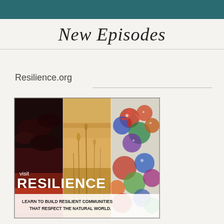New Episodes
Resilience.org
[Figure (illustration): Promotional image for Resilience.org showing three panels: a dark stormy sky with red sunset on the left, golden grasses in the center, and colorful glass flower sculptures on the right. Text overlaid reads 'visit RESILIENCE' and 'LEARN TO BUILD RESILIENT COMMUNITIES THAT RESPECT THE NATURAL WORLD.']